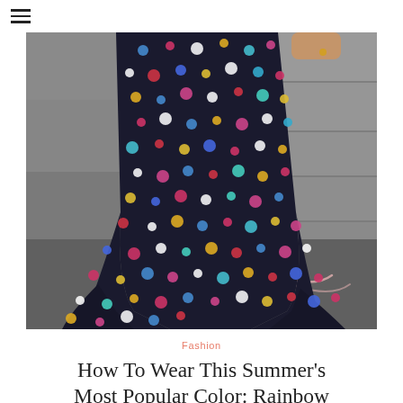[Figure (photo): Close-up photograph of a person wearing a black skirt with multicolored polka dots (blue, red, pink, gold, white). The skirt has a flared/mermaid silhouette at the bottom. Background shows concrete steps and grey pavement with a chalk drawing.]
Fashion
How To Wear This Summer's Most Popular Color: Rainbow